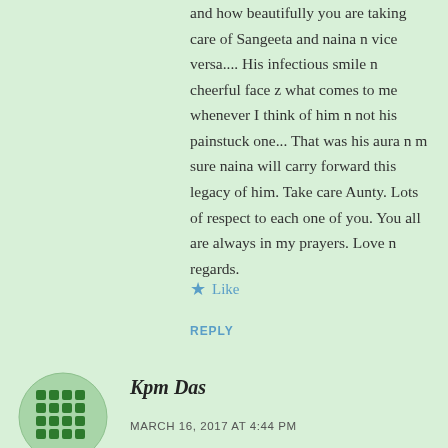and how beautifully you are taking care of Sangeeta and naina n vice versa.... His infectious smile n cheerful face z what comes to me whenever I think of him n not his painstuck one... That was his aura n m sure naina will carry forward this legacy of him. Take care Aunty. Lots of respect to each one of you. You all are always in my prayers. Love n regards.
Like
REPLY
[Figure (illustration): Green circular avatar with a grid/checkerboard pattern in dark green on a lighter green background]
Kpm Das
MARCH 16, 2017 AT 4:44 PM